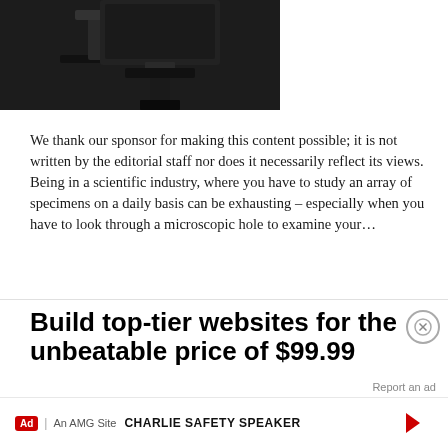[Figure (photo): Partial photograph of a scientific microscope or laboratory instrument on a dark background, cropped at top]
We thank our sponsor for making this content possible; it is not written by the editorial staff nor does it necessarily reflect its views. Being in a scientific industry, where you have to study an array of specimens on a daily basis can be exhausting – especially when you have to look through a microscopic hole to examine your…
READ THE REST
Build top-tier websites for the unbeatable price of $99.99
Report an ad
CHARLIE SAFETY SPEAKER
Ad | An AMG Site